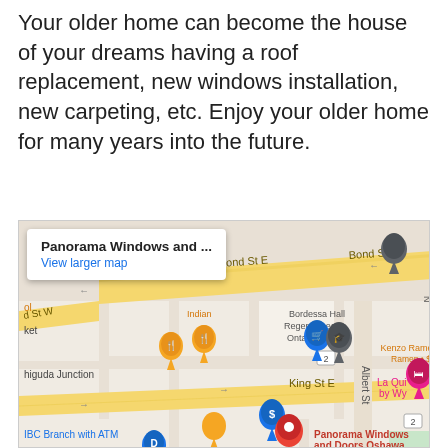Your older home can become the house of your dreams having a roof replacement, new windows installation, new carpeting, etc. Enjoy your older home for many years into the future.
[Figure (map): Google Maps screenshot showing the location of Panorama Windows and Doors Oshawa near Bond St E and King St E in Oshawa, Ontario. Includes a popup with the business name and a 'View larger map' link. Nearby landmarks include Bordessa Hall, Regent Theatre, Ontario Tech, Kenzo Ramen, Avanti, La Quinta by Wyndham, and IBC Branch with ATM.]